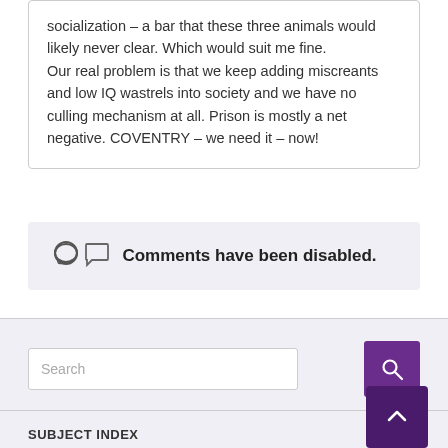socialization – a bar that these three animals would likely never clear. Which would suit me fine. Our real problem is that we keep adding miscreants and low IQ wastrels into society and we have no culling mechanism at all. Prison is mostly a net negative. COVENTRY – we need it – now!
Comments have been disabled.
Search
SUBJECT INDEX